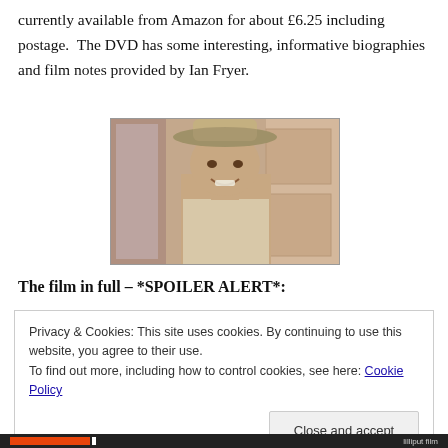currently available from Amazon for about £6.25 including postage.  The DVD has some interesting, informative biographies and film notes provided by Ian Fryer.
[Figure (photo): A man wearing a cowboy hat, smiling, in a film still from a Western movie.]
The film in full – *SPOILER ALERT*:
Privacy & Cookies: This site uses cookies. By continuing to use this website, you agree to their use.
To find out more, including how to control cookies, see here: Cookie Policy
[Close and accept]